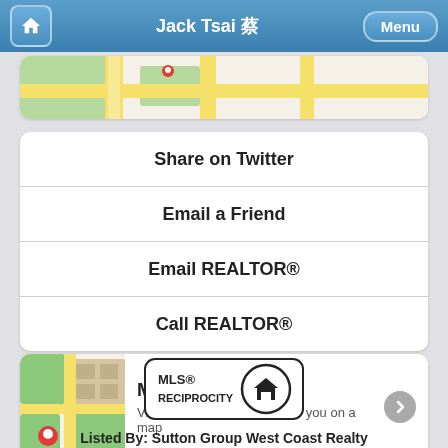Jack Tsai 蔡
[Figure (map): Partial map thumbnail showing green areas and roads with a red pin marker]
Share on Twitter
Email a Friend
Email REALTOR®
Call REALTOR®
[Figure (map): Map App card with map thumbnail (streets, buildings, green areas, red pin), title 'Map App', description 'View properties for sale near you on a map', and a right arrow]
[Figure (logo): MLS® RECIPROCITY logo with house icon in circular border]
Listed By: Sutton Group West Coast Realty